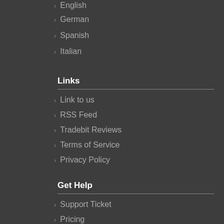English
German
Spanish
Italian
Links
Link to us
RSS Feed
Tradebit Reviews
Terms of Service
Privacy Policy
Get Help
Support Ticket
Pricing
DMCA